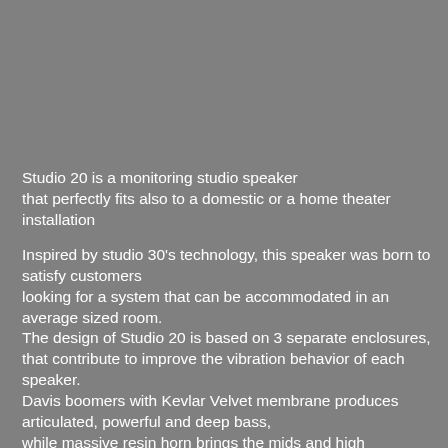[Figure (photo): Gray background area (upper portion of page, no visible image content)]
Studio 20 is a monitoring studio speaker that perfectly fits also to a domestic or a home theater installation
Inspired by studio 30's technology, this speaker was born to satisfy customers looking for a system that can be accommodated in an average sized room. The design of Studio 20 is based on 3 separate enclosures, that contribute to improve the vibration behavior of each speaker. Davis boomers with Kevlar Velvet membrane produces articulated, powerful and deep bass, while massive resin horn brings the mids and high frequencies range creates an amazing realism...